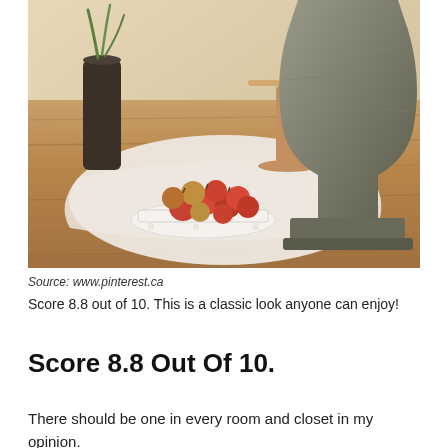[Figure (photo): A rustic wooden table with a white linen runner, a white footed tray holding red apples, a wooden pedestal cake stand, a dark vase with green plant shoots, and a large weathered stone urn on the right.]
Source: www.pinterest.ca
Score 8.8 out of 10. This is a classic look anyone can enjoy!
Score 8.8 Out Of 10.
There should be one in every room and closet in my opinion.